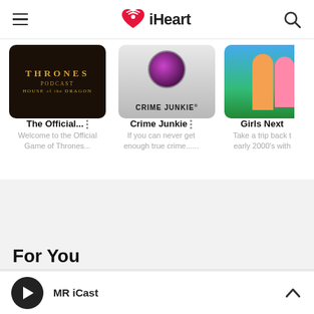iHeart navigation bar with hamburger menu, iHeart logo, and search icon
[Figure (screenshot): Podcast card: Thrones Podcast House of the Dragon - dark themed cover art with gold text]
The Official...
Welcome to the Official Game of Thrones...
[Figure (screenshot): Podcast card: Crime Junkie - grey themed cover art with Crime Junkie text]
Crime Junkie
If you can never get enough true crime......
[Figure (screenshot): Podcast card: Girls Next - partially visible, showing women outdoors with blue/green background]
Girls Next
Take a trip back t early 2000's with
For You
MR iCast